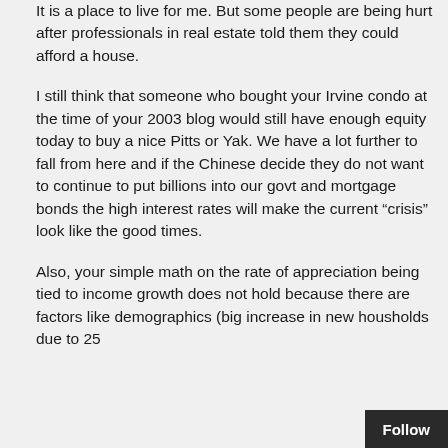It is a place to live for me. But some people are being hurt after professionals in real estate told them they could afford a house.
I still think that someone who bought your Irvine condo at the time of your 2003 blog would still have enough equity today to buy a nice Pitts or Yak. We have a lot further to fall from here and if the Chinese decide they do not want to continue to put billions into our govt and mortgage bonds the high interest rates will make the current “crisis” look like the good times.
Also, your simple math on the rate of appreciation being tied to income growth does not hold because there are factors like demographics (big increase in new housholds due to 25